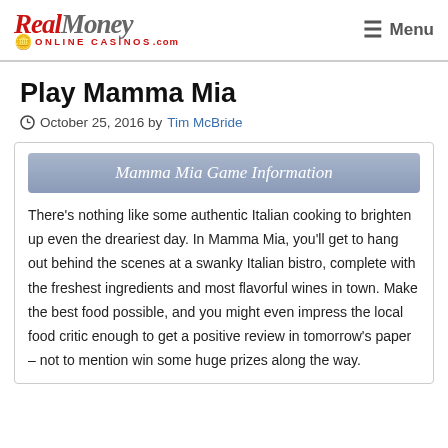Real Money Online Casinos .com | Menu
Play Mamma Mia
October 25, 2016 by Tim McBride
Mamma Mia Game Information
There's nothing like some authentic Italian cooking to brighten up even the dreariest day. In Mamma Mia, you'll get to hang out behind the scenes at a swanky Italian bistro, complete with the freshest ingredients and most flavorful wines in town. Make the best food possible, and you might even impress the local food critic enough to get a positive review in tomorrow's paper – not to mention win some huge prizes along the way.